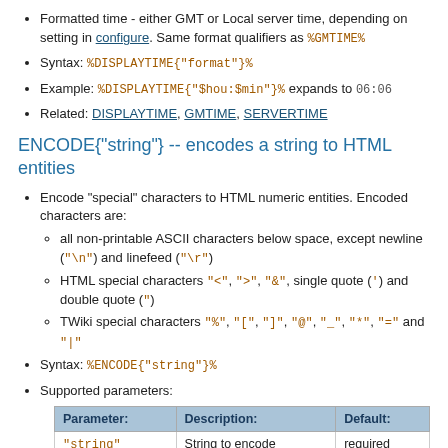Formatted time - either GMT or Local server time, depending on setting in configure. Same format qualifiers as %GMTIME%
Syntax: %DISPLAYTIME{"format"}%
Example: %DISPLAYTIME{"$hou:$min"}% expands to 06:06
Related: DISPLAYTIME, GMTIME, SERVERTIME
ENCODE{"string"} -- encodes a string to HTML entities
Encode "special" characters to HTML numeric entities. Encoded characters are:
all non-printable ASCII characters below space, except newline ("\n") and linefeed ("\r")
HTML special characters "<", ">", "&", single quote (') and double quote (")
TWiki special characters "%", "[", "]", "@", "_", "*", "=" and "|"
Syntax: %ENCODE{"string"}%
Supported parameters:
| Parameter: | Description: | Default: |
| --- | --- | --- |
| "string" | String to encode | required
(can be |